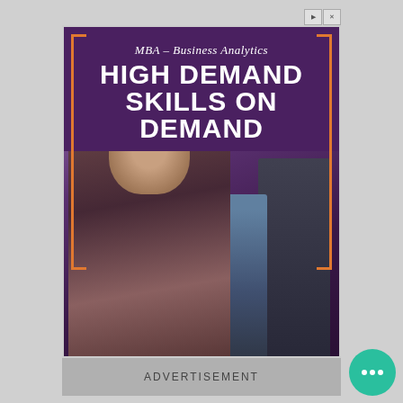[Figure (photo): Advertisement banner for MBA Business Analytics program. Purple background with orange bracket decorations. Shows a bearded man in a dark suit speaking, with two women in business attire in the background. Text reads 'MBA – Business Analytics HIGH DEMAND SKILLS ON DEMAND'.]
ADVERTISEMENT